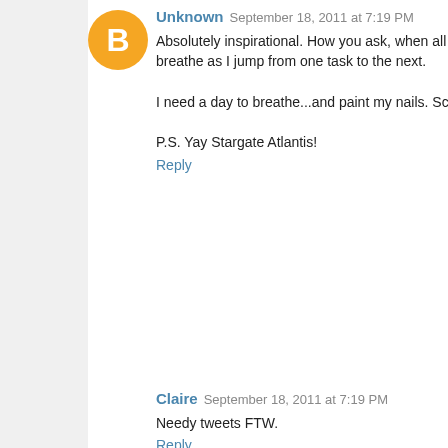[Figure (illustration): Orange Blogger avatar circle with 'B' icon]
Unknown September 18, 2011 at 7:19 PM
Absolutely inspirational. How you ask, when all you did was breathe as I jump from one task to the next.

I need a day to breathe...and paint my nails. Screw it, that c

P.S. Yay Stargate Atlantis!
Reply
Claire September 18, 2011 at 7:19 PM
Needy tweets FTW.
Reply
[Figure (illustration): Gray warning triangle with exclamation mark avatar]
Summer Knightly September 18, 2011 at 7:20 PM
May I say that

a) that is fabulous shade of nail polish you're wearing (I'm s

and

b) Been there, too. Way too often. But ya know, it's ok